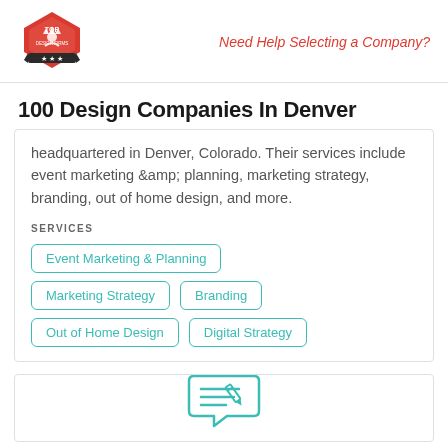[Figure (logo): Top Design Firms logo - red hexagon/diamond shape with crown and banner]
Need Help Selecting a Company?
100 Design Companies In Denver
headquartered in Denver, Colorado. Their services include event marketing &amp; planning, marketing strategy, branding, out of home design, and more.
SERVICES
Event Marketing & Planning
Marketing Strategy
Branding
Out of Home Design
Digital Strategy
[Figure (illustration): Teal outline icon of a chat bubble with a pencil/writing symbol]